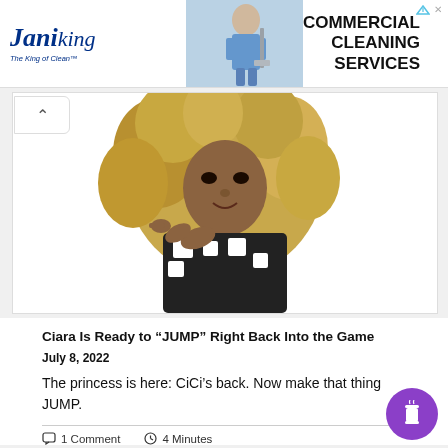[Figure (screenshot): Jani-King Commercial Cleaning Services advertisement banner with logo on left, person cleaning in middle, and text 'COMMERCIAL CLEANING SERVICES' on right]
[Figure (photo): Woman with large curly blonde/brown hair wearing a black-and-white patterned outfit, pointing toward the camera with a confident pose against a white background]
Ciara Is Ready to “JUMP” Right Back Into the Game
July 8, 2022
The princess is here: CiCi’s back. Now make that thing JUMP.
1 Comment   4 Minutes